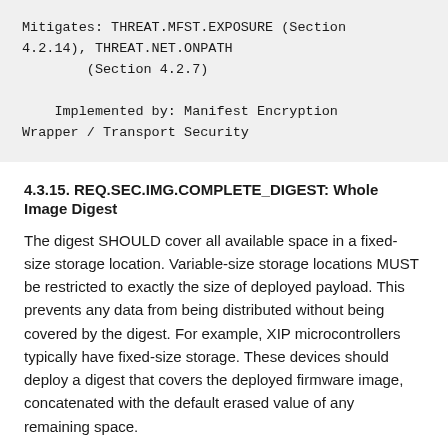Mitigates:  THREAT.MFST.EXPOSURE (Section 4.2.14), THREAT.NET.ONPATH
        (Section 4.2.7)

    Implemented by:  Manifest Encryption Wrapper / Transport Security
4.3.15. REQ.SEC.IMG.COMPLETE_DIGEST: Whole Image Digest
The digest SHOULD cover all available space in a fixed-size storage location. Variable-size storage locations MUST be restricted to exactly the size of deployed payload. This prevents any data from being distributed without being covered by the digest. For example, XIP microcontrollers typically have fixed-size storage. These devices should deploy a digest that covers the deployed firmware image, concatenated with the default erased value of any remaining space.